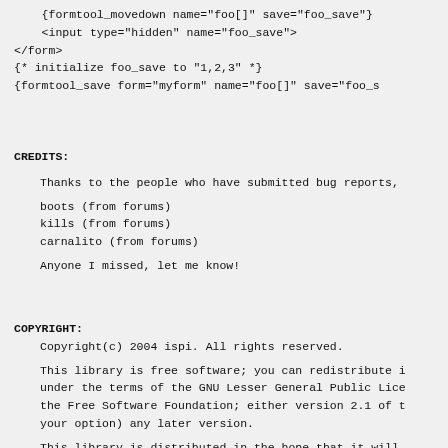{formtool_movedown name="foo[]" save="foo_save"}
    <input type="hidden" name="foo_save">
</form>
{* initialize foo_save to "1,2,3" *}
{formtool_save form="myform" name="foo[]" save="foo_s
CREDITS:
Thanks to the people who have submitted bug reports,
boots (from forums)
kills (from forums)
carnalito (from forums)
Anyone I missed, let me know!
COPYRIGHT:
Copyright(c) 2004 ispi. All rights reserved.
This library is free software; you can redistribute i under the terms of the GNU Lesser General Public Lice the Free Software Foundation; either version 2.1 of t your option) any later version.
This library is distributed in the hope that it will ANY WARRANTY; without even the implied warranty of ME FITNESS FOR A PARTICULAR PURPOSE.  See the GNU Lesser License for more details.